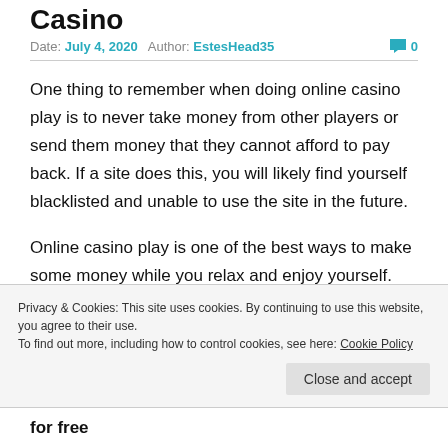Casino
Date: July 4, 2020   Author: EstesHead35   💬 0
One thing to remember when doing online casino play is to never take money from other players or send them money that they cannot afford to pay back. If a site does this, you will likely find yourself blacklisted and unable to use the site in the future.
Online casino play is one of the best ways to make some money while you relax and enjoy yourself. There are thousands of online casinos that offer real money
Privacy & Cookies: This site uses cookies. By continuing to use this website, you agree to their use.
To find out more, including how to control cookies, see here: Cookie Policy
for free